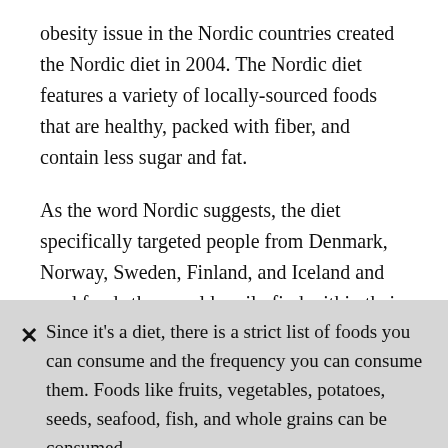obesity issue in the Nordic countries created the Nordic diet in 2004. The Nordic diet features a variety of locally-sourced foods that are healthy, packed with fiber, and contain less sugar and fat.
As the word Nordic suggests, the diet specifically targeted people from Denmark, Norway, Sweden, Finland, and Iceland and used foods they could easily find within their area. Considering that they have a different climate compared to other regions, sustainability and convenience were two important factors.
Since it's a diet, there is a strict list of foods you can consume and the frequency you can consume them. Foods like fruits, vegetables, potatoes, seeds, seafood, fish, and whole grains can be consumed